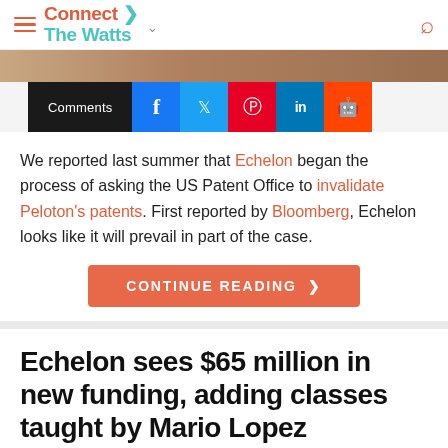Connect The Watts
[Figure (screenshot): Social sharing bar with Comments button, Facebook, Twitter, Pinterest, LinkedIn, Reddit icons]
We reported last summer that Echelon began the process of asking the US Patent Office to invalidate Peloton's patents. First reported by Bloomberg, Echelon looks like it will prevail in part of the case.
CONTINUE READING
Echelon sees $65 million in new funding, adding classes taught by Mario Lopez
Bradley Chambers - Dec. 29th 2020 4:21 am PT